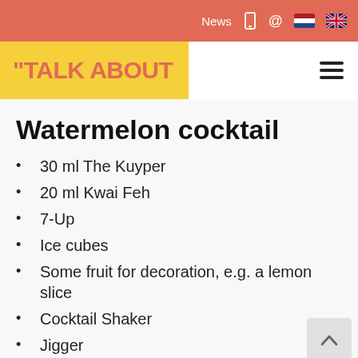News @ [phone icon] [email icon] [NL flag] [UK flag]
"TALK ABOUT
Watermelon cocktail
30 ml The Kuyper
20 ml Kwai Feh
7-Up
Ice cubes
Some fruit for decoration, e.g. a lemon slice
Cocktail Shaker
Jigger